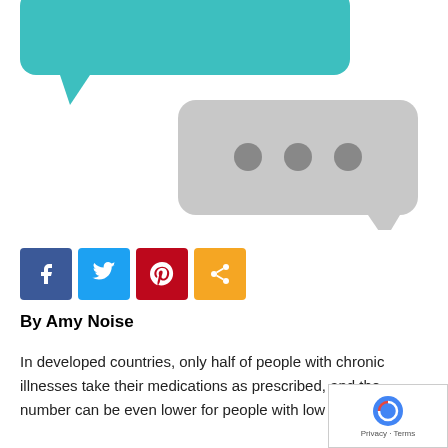[Figure (illustration): Two speech bubbles illustration: a teal/green speech bubble (partially cropped at top left) and a grey speech bubble with three grey dots (ellipsis), suggesting a conversation or messaging interface.]
[Figure (infographic): Social media share buttons: Facebook (blue), Twitter (light blue), Pinterest (red), Share (orange)]
By Amy Noise
In developed countries, only half of people with chronic illnesses take their medications as prescribed, and the number can be even lower for people with low health literacy, and...